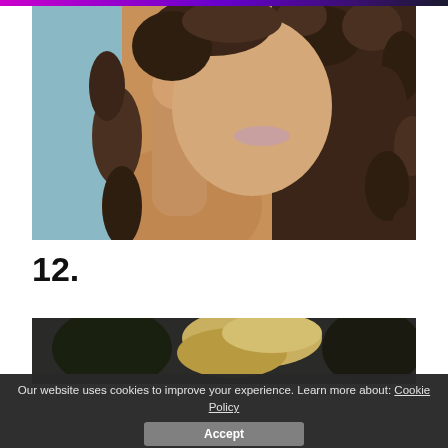[Figure (photo): Close-up photo of a young woman with long curly brown hair, resting her chin on her hand, wearing a white top. Teal/blue background visible on the left.]
12.
[Figure (photo): Partial photo showing a person with light/blonde updo hair against a dark background, with a share button overlay in the top right corner.]
Our website uses cookies to improve your experience. Learn more about: Cookie Policy
Accept